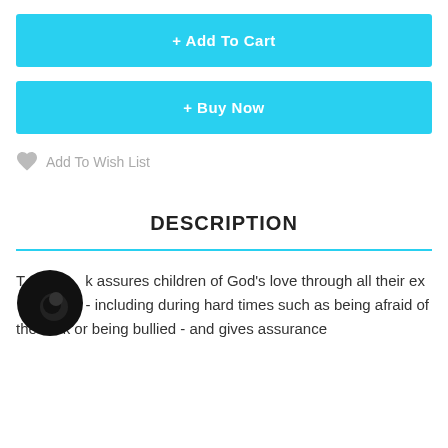+ Add To Cart
+ Buy Now
Add To Wish List
DESCRIPTION
This book assures children of God's love through all their experiences - including during hard times such as being afraid of the dark or being bullied - and gives assurance